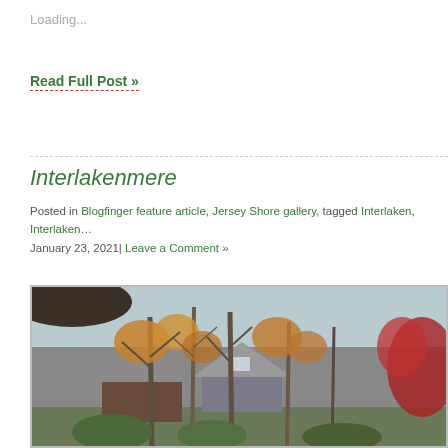Loading...
Read Full Post »
Interlakenmere
Posted in Blogfinger feature article, Jersey Shore gallery, tagged Interlaken, Interlaken… January 23, 2021| Leave a Comment »
[Figure (photo): Autumn scene with bare and orange-leafed trees in front of a Tudor-style house, overcast sky, red foliage on right side]